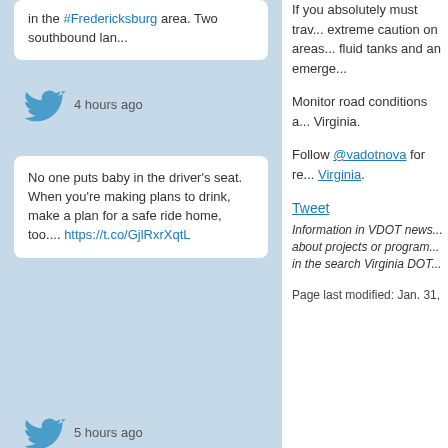in the #Fredericksburg area. Two southbound lan...
4 hours ago
No one puts baby in the driver's seat. When you're making plans to drink, make a plan for a safe ride home, too.... https://t.co/GjlRxrXqtL
5 hours ago
Other Links
VirginiaRoads.org Portal
Open to the Public
Six-Year Improvement Program database
Organizational Chart
E-ZPass Virginia
Transparency in Procurement
If you absolutely must trav... extreme caution on areas... fluid tanks and an emerge...
Monitor road conditions a... Virginia.
Follow @vadotnova for re... Virginia.
Tweet
Information in VDOT news... about projects or program... in the search Virginia DOT...
Page last modified: Jan. 31,
Resources
Today's Top 5 Web Pages